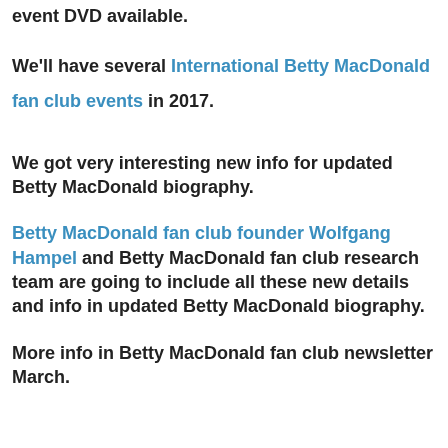event DVD available.
We'll have several International Betty MacDonald fan club events in 2017.
We got very interesting new info for updated Betty MacDonald biography.
Betty MacDonald fan club founder Wolfgang Hampel and Betty MacDonald fan club research team are going to include all these new details and info in updated Betty MacDonald biography.
More info in Betty MacDonald fan club newsletter March.